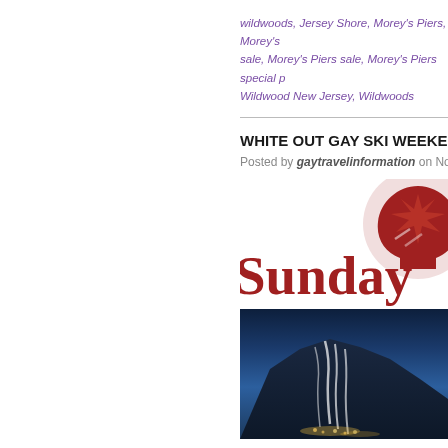wildwoods, Jersey Shore, Morey's Piers, Morey's Piers sale, Morey's Piers sale, Morey's Piers special p… Wildwood New Jersey, Wildwoods
WHITE OUT GAY SKI WEEKEND – SUN…
Posted by gaytravelinformation on November…
[Figure (logo): Sunday River ski resort logo with red maple leaf / sun icon and 'Sunday' text in red serif font]
[Figure (photo): Night or dusk aerial photo of Sunday River ski mountain with illuminated ski trails running down a dark mountain, lights at base]
White Out Weekend February 6-8, 2015 Thrill… "wow." At Sunday River, we're so devoted to… and called it WOW! We're proud to host Whit… with OutBodner New England's largest GLBT…